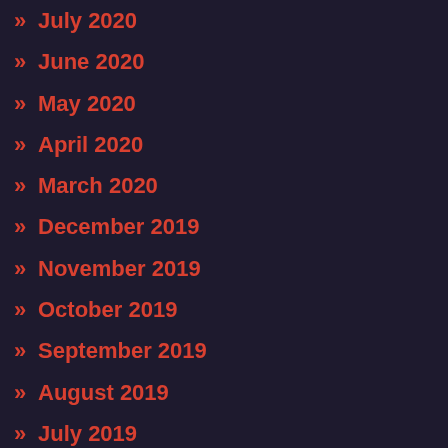July 2020
June 2020
May 2020
April 2020
March 2020
December 2019
November 2019
October 2019
September 2019
August 2019
July 2019
June 2019
May 2019
January 2019
December 2018